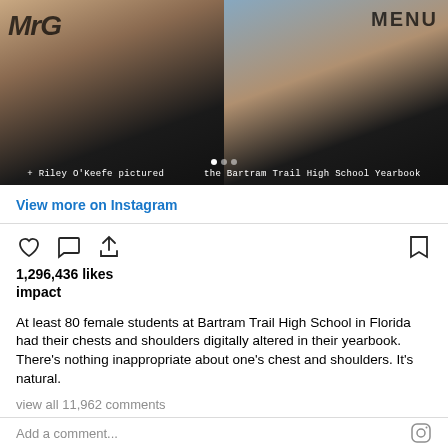[Figure (screenshot): Instagram post screenshot showing two photos of a young woman — left photo from a magazine with overlay text 'MrG', right photo showing the same person with 'MENU' text overlay. Caption reads: '+ Riley O'Keefe pictured in the Bartram Trail High School Yearbook']
View more on Instagram
1,296,436 likes
impact
At least 80 female students at Bartram Trail High School in Florida had their chests and shoulders digitally altered in their yearbook. There's nothing inappropriate about one's chest and shoulders. It's natural.
view all 11,962 comments